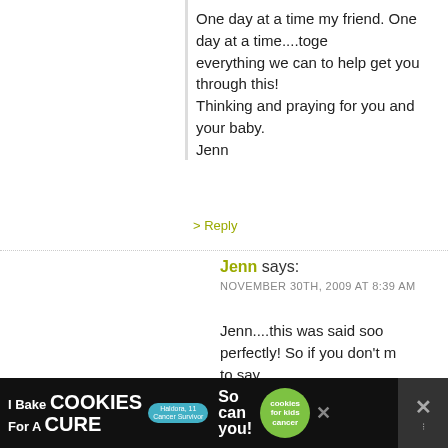One day at a time my friend. One day at a time....toge everything we can to help get you through this! Thinking and praying for you and your baby. Jenn
> Reply
Jenn says:
NOVEMBER 30TH, 2009 AT 8:39 AM
Jenn....this was said soo perfectly! So if you don't m to say,
“Exactly what Jenn said!” is how I feel too 🙂

Great job Binky for staying put!!

We love you and are here to support you!

Big hugs,
Jenn
.-= Jenn´s last blog ..Thanksgiving 2009 =-.
> Reply
[Figure (other): Advertisement banner: I Bake Cookies For A Cure - So can you! with photo of girl and cookies for kids cancer badge]